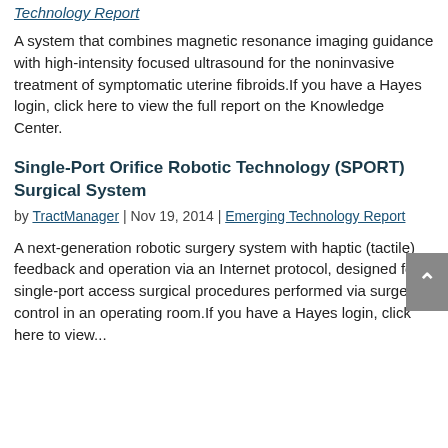Technology Report (partial link at top)
A system that combines magnetic resonance imaging guidance with high-intensity focused ultrasound for the noninvasive treatment of symptomatic uterine fibroids.If you have a Hayes login, click here to view the full report on the Knowledge Center.
Single-Port Orifice Robotic Technology (SPORT) Surgical System
by TractManager | Nov 19, 2014 | Emerging Technology Report
A next-generation robotic surgery system with haptic (tactile) feedback and operation via an Internet protocol, designed for single-port access surgical procedures performed via surgeon control in an operating room.If you have a Hayes login, click here to view...